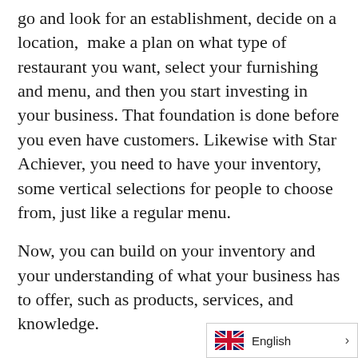go and look for an establishment, decide on a location, make a plan on what type of restaurant you want, select your furnishing and menu, and then you start investing in your business. That foundation is done before you even have customers. Likewise with Star Achiever, you need to have your inventory, some vertical selections for people to choose from, just like a regular menu.

Now, you can build on your inventory and your understanding of what your business has to offer, such as products, services, and knowledge.